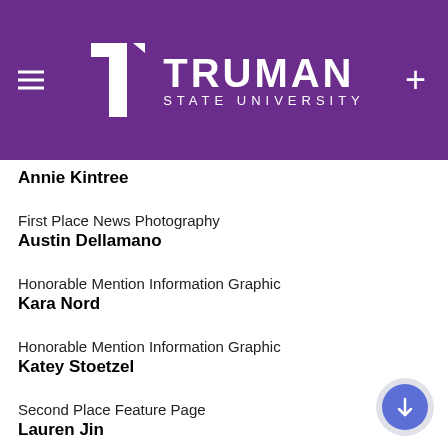[Figure (logo): Truman State University logo with purple background, hamburger menu icon on left, plus icon on right]
Annie Kintree
First Place News Photography
Austin Dellamano
Honorable Mention Information Graphic
Kara Nord
Honorable Mention Information Graphic
Katey Stoetzel
Second Place Feature Page
Lauren Jin
Second Place Entertainment Review
Chris Burk
Honorable Mention Editorial Writing